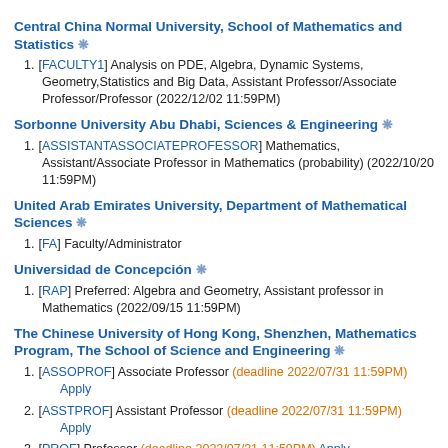Central China Normal University, School of Mathematics and Statistics ❋
[FACULTY1] Analysis on PDE, Algebra, Dynamic Systems, Geometry,Statistics and Big Data, Assistant Professor/Associate Professor/Professor (2022/12/02 11:59PM)
Sorbonne University Abu Dhabi, Sciences & Engineering ❋
[ASSISTANTASSOCIATEPROFESSOR] Mathematics, Assistant/Associate Professor in Mathematics (probability) (2022/10/20 11:59PM)
United Arab Emirates University, Department of Mathematical Sciences ❋
[FA] Faculty/Administrator
Universidad de Concepción ❋
[RAP] Preferred: Algebra and Geometry, Assistant professor in Mathematics (2022/09/15 11:59PM)
The Chinese University of Hong Kong, Shenzhen, Mathematics Program, The School of Science and Engineering ❋
[ASSOPROF] Associate Professor (deadline 2022/07/31 11:59PM) Apply
[ASSTPROF] Assistant Professor (deadline 2022/07/31 11:59PM) Apply
[PROF] Professor (deadline 2022/07/31 11:59PM) Apply